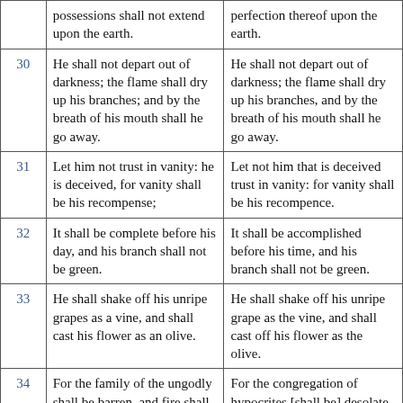|  | Column 1 | Column 2 |
| --- | --- | --- |
|  | possessions shall not extend upon the earth. | perfection thereof upon the earth. |
| 30 | He shall not depart out of darkness; the flame shall dry up his branches; and by the breath of his mouth shall he go away. | He shall not depart out of darkness; the flame shall dry up his branches, and by the breath of his mouth shall he go away. |
| 31 | Let him not trust in vanity: he is deceived, for vanity shall be his recompense; | Let not him that is deceived trust in vanity: for vanity shall be his recompence. |
| 32 | It shall be complete before his day, and his branch shall not be green. | It shall be accomplished before his time, and his branch shall not be green. |
| 33 | He shall shake off his unripe grapes as a vine, and shall cast his flower as an olive. | He shall shake off his unripe grape as the vine, and shall cast off his flower as the olive. |
| 34 | For the family of the ungodly shall be barren, and fire shall consume the tents of bribery. | For the congregation of hypocrites [shall be] desolate, and fire shall consume the tabernacles of bribery. |